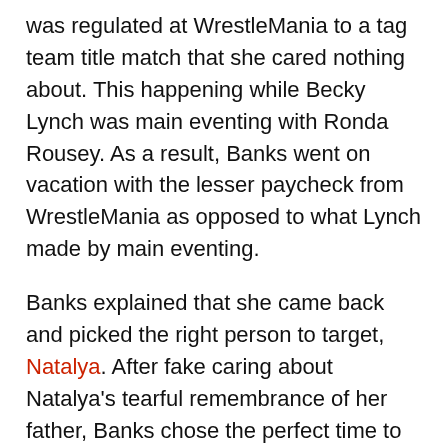She then stated that all of these reasons were because she was regulated at WrestleMania to a tag team title match that she cared nothing about. This happening while Becky Lynch was main eventing with Ronda Rousey. As a result, Banks went on vacation with the lesser paycheck from WrestleMania as opposed to what Lynch made by main eventing.
Banks explained that she came back and picked the right person to target, Natalya. After fake caring about Natalya's tearful remembrance of her father, Banks chose the perfect time to attack. Lynch came out at that moment to try and help Natalya, but we all see the beating that she took as a result.
And why? For Sasha to be the center of attention. She states that she is the standard of the women's division, she is the talk of the women's division, and she has been since day